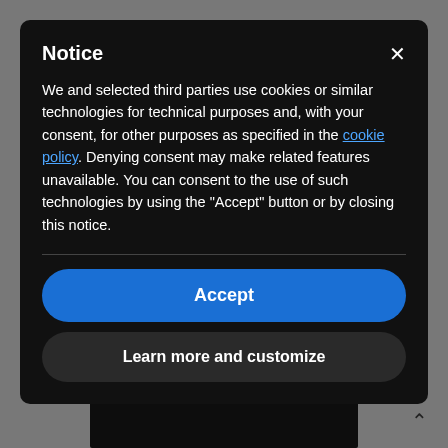minimalist lines are enriched by ruffles and the big and voluminous skirts are simply gorgeous.
[Figure (photo): Dark photo partially visible at bottom of page behind modal]
Notice
We and selected third parties use cookies or similar technologies for technical purposes and, with your consent, for other purposes as specified in the cookie policy. Denying consent may make related features unavailable. You can consent to the use of such technologies by using the "Accept" button or by closing this notice.
Accept
Learn more and customize